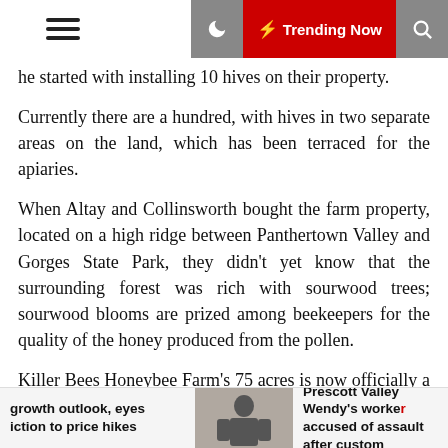☰ 🌙 ⚡ Trending Now 🔍
he started with installing 10 hives on their property.
Currently there are a hundred, with hives in two separate areas on the land, which has been terraced for the apiaries.
When Altay and Collinsworth bought the farm property, located on a high ridge between Panthertown Valley and Gorges State Park, they didn't yet know that the surrounding forest was rich with sourwood trees; sourwood blooms are prized among beekeepers for the quality of the honey produced from the pollen.
Killer Bees Honeybee Farm's 75 acres is now officially a Wildlife Refuge, designated through the N.C. Wildlife Conservation Lands Program; 60 acres are under a conservation easement.
growth outlook, eyes iction to price hikes | Prescott Valley Wendy's worker accused of assault after custom